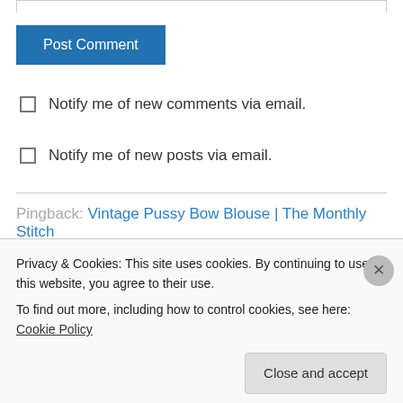[input field top border]
Post Comment
Notify me of new comments via email.
Notify me of new posts via email.
Pingback: Vintage Pussy Bow Blouse | The Monthly Stitch
Caroline Joynson on September 25, 2013 at 20:41
Privacy & Cookies: This site uses cookies. By continuing to use this website, you agree to their use.
To find out more, including how to control cookies, see here: Cookie Policy
Close and accept